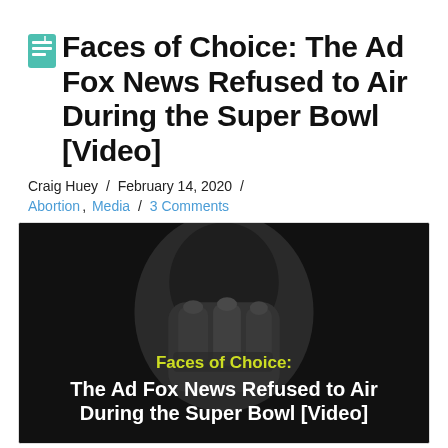Faces of Choice: The Ad Fox News Refused to Air During the Super Bowl [Video]
Craig Huey / February 14, 2020 / Abortion, Media / 3 Comments
[Figure (screenshot): Video thumbnail with dark/black and white background showing a fist or hands, with overlaid text: 'Faces of Choice:' in yellow/green bold and 'The Ad Fox News Refused to Air During the Super Bowl [Video]' in white bold.]